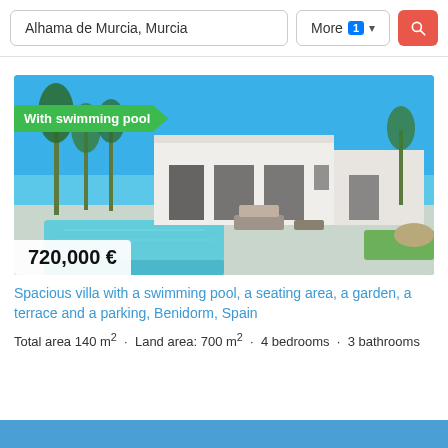Alhama de Murcia, Murcia
More 1 ▾
[Figure (photo): Modern white villa with swimming pool, palm trees, and blue sky. Price tag showing 720,000 € overlaid at bottom left. Green banner reading 'With swimming pool' at top left.]
Spacious villa with a swimming pool, a seating area, a garden, a terrace and a parking, Benidorm, Spain
Total area 140 m² · Land area: 700 m² · 4 bedrooms · 3 bathrooms